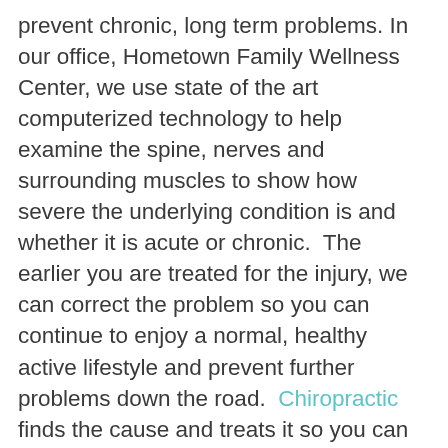prevent chronic, long term problems. In our office, Hometown Family Wellness Center, we use state of the art computerized technology to help examine the spine, nerves and surrounding muscles to show how severe the underlying condition is and whether it is acute or chronic.  The earlier you are treated for the injury, we can correct the problem so you can continue to enjoy a normal, healthy active lifestyle and prevent further problems down the road.  Chiropractic finds the cause and treats it so you can be pain free once again without drugs and surgery.
For more information go to
www.ChiropractorFreehold.com or call our office at